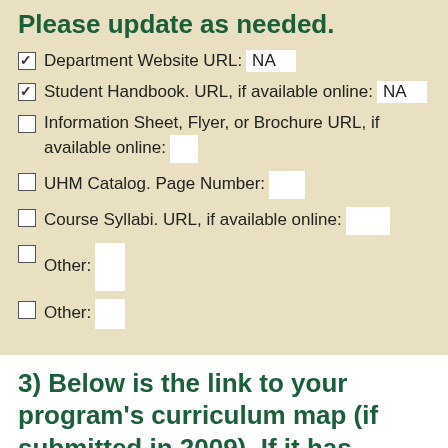Please update as needed.
Department Website URL: NA
Student Handbook. URL, if available online: NA
Information Sheet, Flyer, or Brochure URL, if available online:
UHM Catalog. Page Number:
Course Syllabi. URL, if available online:
Other:
Other:
3) Below is the link to your program's curriculum map (if submitted in 2009). If it has changed or if we do not have your